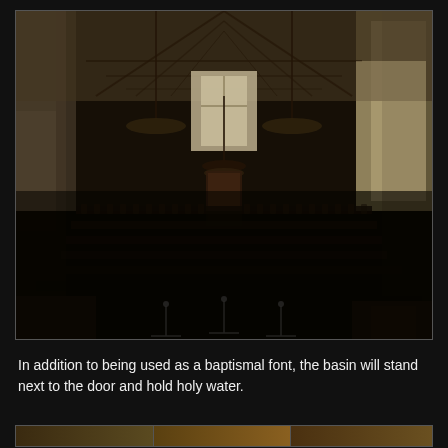[Figure (photo): Interior of a large stone-walled church or concert hall viewed from the back. Rows of dark chairs fill the floor facing a distant doorway. High vaulted wooden ceiling with exposed trusses. Chandeliers hang from the ceiling. Bright light streams in from windows on the right wall and from a tall window above the back door. Standing microphones are visible on the floor near the front.]
In addition to being used as a baptismal font, the basin will stand next to the door and hold holy water.
[Figure (photo): Partial view of bottom photos — warm-toned interior architectural details, partially visible at bottom of page.]